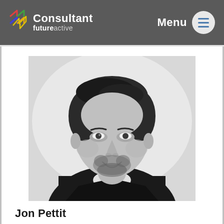Consultant futureactive | Menu
[Figure (photo): Black and white professional headshot of Jon Pettit, a man with short hair and a beard, wearing a black v-neck sweater over a white collared shirt, smiling at the camera against a light background.]
Jon Pettit